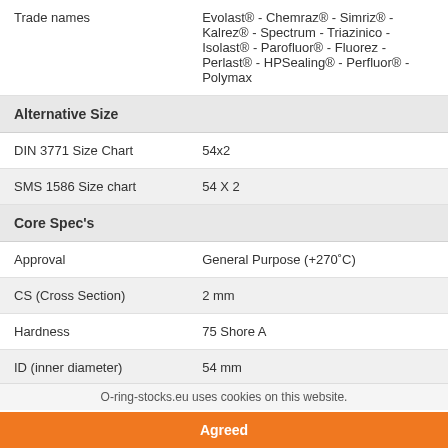| Trade names | Evolast® - Chemraz® - Simriz® - Kalrez® - Spectrum - Triazinico - Isolast® - Parofluor® - Fluorez - Perlast® - HPSealing® - Perfluor® - Polymax |
| Alternative Size |  |
| DIN 3771 Size Chart | 54x2 |
| SMS 1586 Size chart | 54 X 2 |
| Core Spec's |  |
| Approval | General Purpose (+270°C) |
| CS (Cross Section) | 2 mm |
| Hardness | 75 Shore A |
| ID (inner diameter) | 54 mm |
O-ring-stocks.eu uses cookies on this website.
Agreed